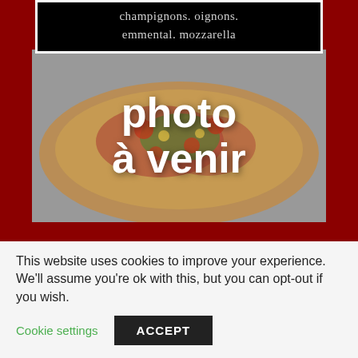champignons. oignons. emmental. mozzarella
[Figure (photo): Blurred pizza photo placeholder with text 'photo à venir' overlaid in white]
SOLO   DUO   MÉDIA   IMPRÉVU
9.00€   12.00€   16.00€   22.00€
This website uses cookies to improve your experience. We'll assume you're ok with this, but you can opt-out if you wish.
Cookie settings   ACCEPT